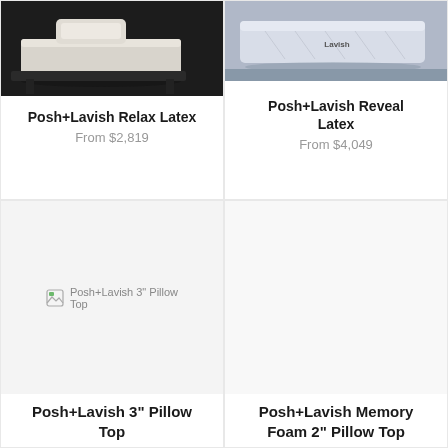[Figure (photo): Posh+Lavish Relax Latex mattress on a dark background]
Posh+Lavish Relax Latex
From $2,819
[Figure (photo): Posh+Lavish Reveal Latex mattress on a light background with Lavish branding]
Posh+Lavish Reveal Latex
From $4,049
[Figure (photo): Broken image icon placeholder for Posh+Lavish 3 inch Pillow Top]
Posh+Lavish 3" Pillow Top
[Figure (photo): Empty placeholder for Posh+Lavish Memory Foam 2 inch Pillow Top]
Posh+Lavish Memory Foam 2" Pillow Top